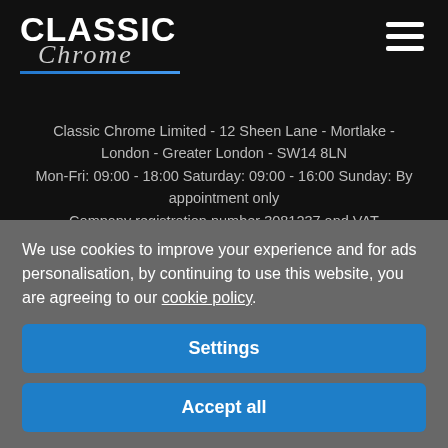[Figure (logo): Classic Chrome logo with bold white uppercase CLASSIC text and italic script Chrome text in grey, with blue underline accent]
Classic Chrome Limited - 12 Sheen Lane  - Mortlake - London - Greater London - SW14 8LN
Mon-Fri: 09:00 - 18:00 Saturday: 09:00 - 16:00 Sunday: By appointment only
Company registration number 3081237 and VAT
We use cookies to improve your experience and for ads personalisation, by continuing to use this website, you are agreeing to our cookie policy.
Settings
Accept all